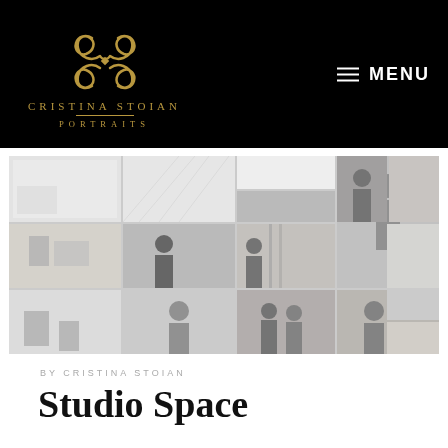CRISTINA STOIAN PORTRAITS — MENU
[Figure (photo): Collage of photography studio spaces and portrait photoshoots, showing various studio interiors, photographers working, and portrait subjects]
BY CRISTINA STOIAN
Studio Space